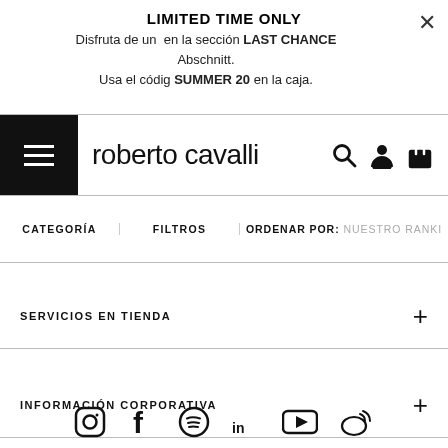LIMITED TIME ONLY
Disfruta de un  en la sección LAST CHANCE Abschnitt.
Usa el códig SUMMER 20 en la caja.
[Figure (logo): Roberto Cavalli brand logo with hamburger menu, search, user and bag icons]
CATEGORÍA   FILTROS   ORDENAR POR: NUESTRO RANKI
SERVICIOS EN TIENDA
INFORMACIÓN CORPORATIVA
[Figure (infographic): Social media icons: Instagram, Facebook, Spotify, LinkedIn, YouTube, Weibo]